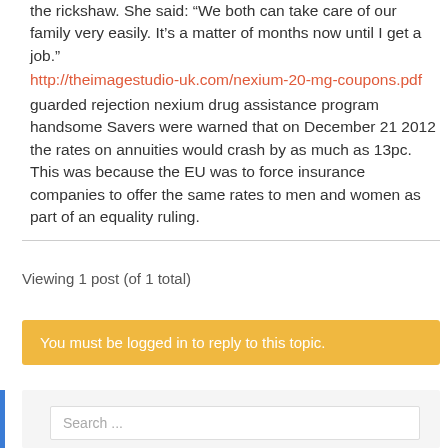the rickshaw. She said: “We both can take care of our family very easily. It’s a matter of months now until I get a job.” http://theimagestudio-uk.com/nexium-20-mg-coupons.pdf guarded rejection nexium drug assistance program handsome Savers were warned that on December 21 2012 the rates on annuities would crash by as much as 13pc. This was because the EU was to force insurance companies to offer the same rates to men and women as part of an equality ruling.
Viewing 1 post (of 1 total)
You must be logged in to reply to this topic.
Search ...